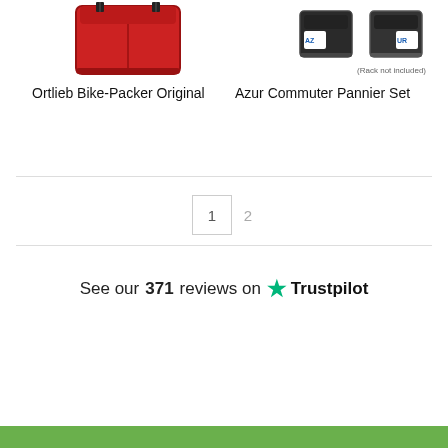[Figure (photo): Red Ortlieb Bike-Packer Original pannier bag]
Ortlieb Bike-Packer Original
[Figure (photo): Azur Commuter Pannier Set, black, with rack not included note]
(Rack not included)
Azur Commuter Pannier Set
1  2
See our 371 reviews on Trustpilot